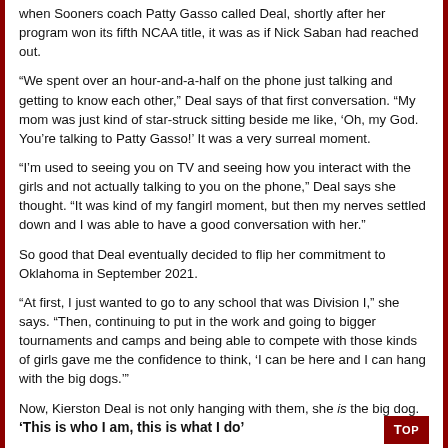when Sooners coach Patty Gasso called Deal, shortly after her program won its fifth NCAA title, it was as if Nick Saban had reached out.
“We spent over an hour-and-a-half on the phone just talking and getting to know each other,” Deal says of that first conversation. “My mom was just kind of star-struck sitting beside me like, ‘Oh, my God. You’re talking to Patty Gasso!’ It was a very surreal moment.
“I’m used to seeing you on TV and seeing how you interact with the girls and not actually talking to you on the phone,” Deal says she thought. “It was kind of my fangirl moment, but then my nerves settled down and I was able to have a good conversation with her.”
So good that Deal eventually decided to flip her commitment to Oklahoma in September 2021.
“At first, I just wanted to go to any school that was Division I,” she says. “Then, continuing to put in the work and going to bigger tournaments and camps and being able to compete with those kinds of girls gave me the confidence to think, ‘I can be here and I can hang with the big dogs.’”
Now, Kierston Deal is not only hanging with them, she is the big dog.
'This is who I am, this is what I do'
At this time a year ago, Deal was known as one of the best high school softball pitchers in North Carolina, but she wasn’t on the radar nationally.
What changed?
Deal certainly didn’t. She’s the same intensely competitive left-hander